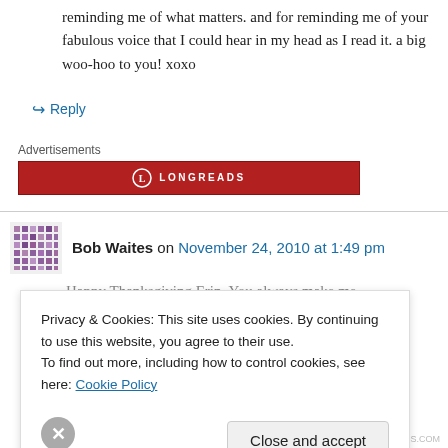reminding me of what matters. and for reminding me of your fabulous voice that I could hear in my head as I read it. a big woo-hoo to you! xoxo
↳ Reply
Advertisements
[Figure (logo): Longreads advertisement banner, red background with white logo and LONGREADS text]
Bob Waites on November 24, 2010 at 1:49 pm
Privacy & Cookies: This site uses cookies. By continuing to use this website, you agree to their use. To find out more, including how to control cookies, see here: Cookie Policy
Close and accept